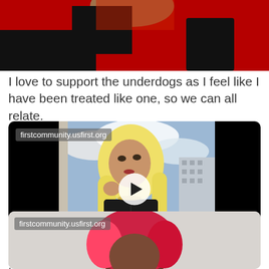[Figure (photo): Partial view of a person in a red background, cropped at top of page]
I love to support the underdogs as I feel like I have been treated like one, so we can all relate.
[Figure (screenshot): Video player showing a woman with long blonde hair wearing a black corset, standing near a window with a city view. Watermark reads 'firstcommunity.usfirst.org'. Play button visible in center.]
.
[Figure (photo): Partial bottom image of a person with pink/red hair, watermark reads 'firstcommunity.usfirst.org']